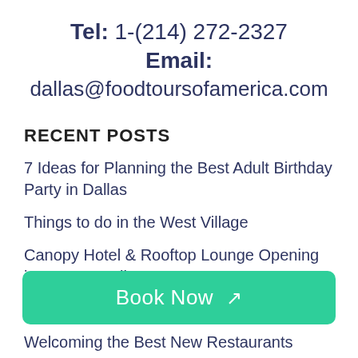Tel: 1-(214) 272-2327
Email:
dallas@foodtoursofamerica.com
RECENT POSTS
7 Ideas for Planning the Best Adult Birthday Party in Dallas
Things to do in the West Village
Canopy Hotel & Rooftop Lounge Opening in Uptown Dallas
Springtime Things to Do In Dallas: The 5
Book Now ↗
Welcoming the Best New Restaurants